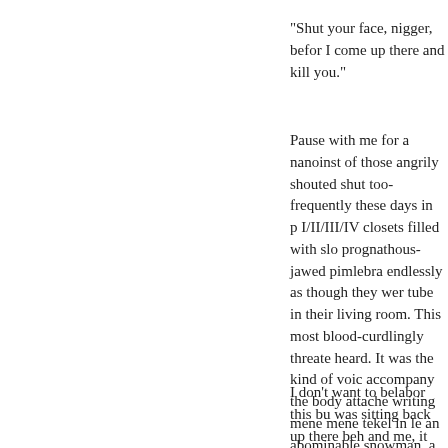"Shut your face, nigger, before I come up there and kill you."
Pause with me for a nanoinstant on one of those angrily shouted shut-ups, too-frequently these days in prime time I/II/III/IV closets filled with sloe-eyed, prognathous-jawed pimplebrains mouthing endlessly as though they were a cathode tube in their living room. This was the most blood-curdlingly threatening voice I heard. It was the kind of voice you'd accompany the body attached to a hand writing mene mene tekel in letters big as an abominable snowman, a thunderous behemoth, a stone righteous colossus. Deep, resonant, commanding, and oh so very black.
I don't want to belabor this but as Wanda was sitting back up there behind Holmes and me, it was bad.